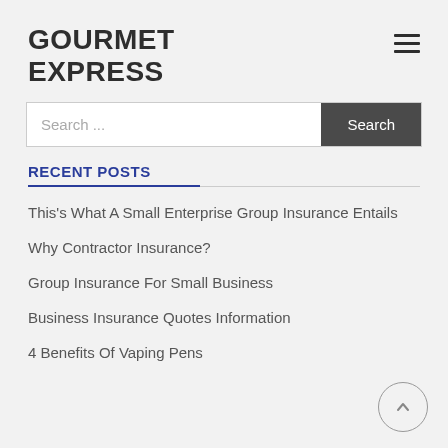GOURMET EXPRESS
RECENT POSTS
This's What A Small Enterprise Group Insurance Entails
Why Contractor Insurance?
Group Insurance For Small Business
Business Insurance Quotes Information
4 Benefits Of Vaping Pens